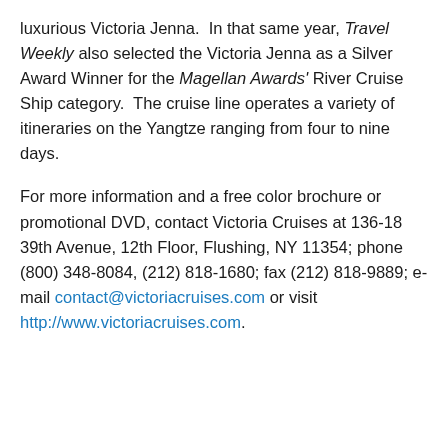luxurious Victoria Jenna.  In that same year, Travel Weekly also selected the Victoria Jenna as a Silver Award Winner for the Magellan Awards' River Cruise Ship category.  The cruise line operates a variety of itineraries on the Yangtze ranging from four to nine days.
For more information and a free color brochure or promotional DVD, contact Victoria Cruises at 136-18 39th Avenue, 12th Floor, Flushing, NY 11354; phone (800) 348-8084, (212) 818-1680; fax (212) 818-9889; e-mail contact@victoriacruises.com or visit http://www.victoriacruises.com.